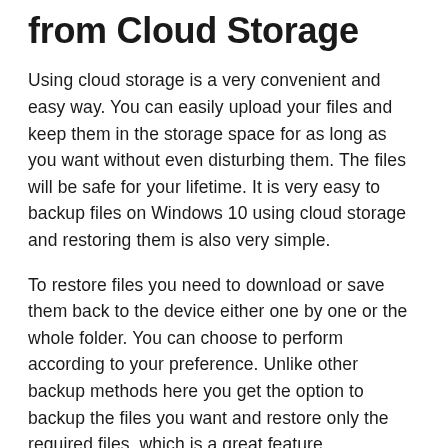from Cloud Storage
Using cloud storage is a very convenient and easy way. You can easily upload your files and keep them in the storage space for as long as you want without even disturbing them. The files will be safe for your lifetime. It is very easy to backup files on Windows 10 using cloud storage and restoring them is also very simple.
To restore files you need to download or save them back to the device either one by one or the whole folder. You can choose to perform according to your preference. Unlike other backup methods here you get the option to backup the files you want and restore only the required files, which is a great feature.
The best part about the restoring feature is that you can save the files on all types of devices. You can store the files on mobile phones, laptops, or even